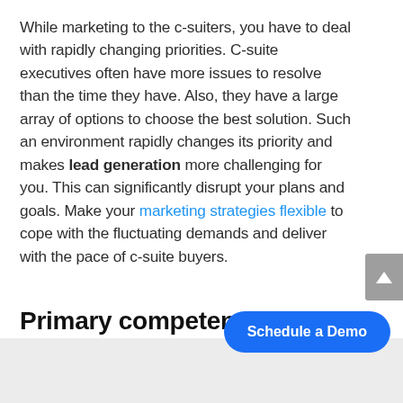While marketing to the c-suiters, you have to deal with rapidly changing priorities. C-suite executives often have more issues to resolve than the time they have. Also, they have a large array of options to choose the best solution. Such an environment rapidly changes its priority and makes lead generation more challenging for you. This can significantly disrupt your plans and goals. Make your marketing strategies flexible to cope with the fluctuating demands and deliver with the pace of c-suite buyers.
Primary competencies you need to master
Schedule a Demo